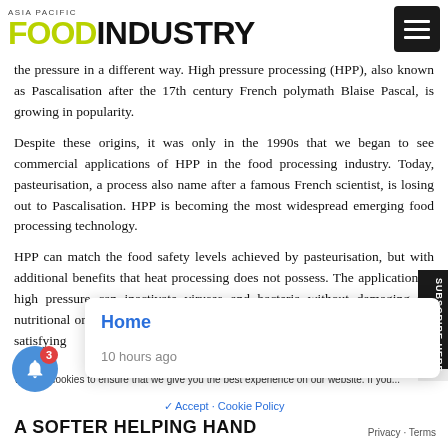ASIA PACIFIC FOOD INDUSTRY
the pressure in a different way. High pressure processing (HPP), also known as Pascalisation after the 17th century French polymath Blaise Pascal, is growing in popularity.
Despite these origins, it was only in the 1990s that we began to see commercial applications of HPP in the food processing industry. Today, pasteurisation, a process also name after a famous French scientist, is losing out to Pascalisation. HPP is becoming the most widespread emerging food processing technology.
HPP can match the food safety levels achieved by pasteurisation, but with additional benefits that heat processing does not possess. The application of high pressure can inactivate viruses and bacteria without damaging the nutritional or sensory properties of the food, making it an attractive route to satisfying...
A SOFTER HELPING HAND